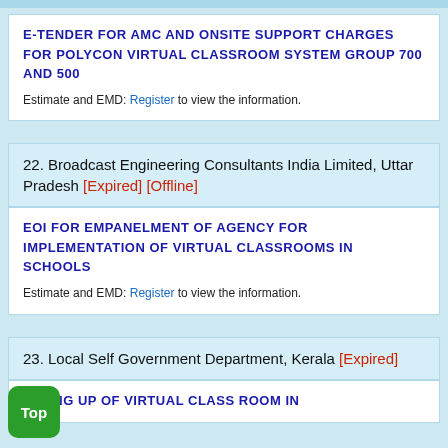E-TENDER FOR AMC AND ONSITE SUPPORT CHARGES FOR POLYCON VIRTUAL CLASSROOM SYSTEM GROUP 700 AND 500
Estimate and EMD: Register to view the information.
22. Broadcast Engineering Consultants India Limited, Uttar Pradesh [Expired] [Offline]
EOI FOR EMPANELMENT OF AGENCY FOR IMPLEMENTATION OF VIRTUAL CLASSROOMS IN SCHOOLS
Estimate and EMD: Register to view the information.
23. Local Self Government Department, Kerala [Expired]
SETTING UP OF VIRTUAL CLASS ROOM IN